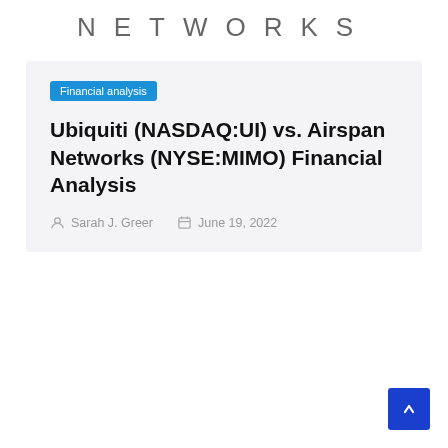NETWORKS
Financial analysis
Ubiquiti (NASDAQ:UI) vs. Airspan Networks (NYSE:MIMO) Financial Analysis
Sarah J. Greer   June 19, 2022